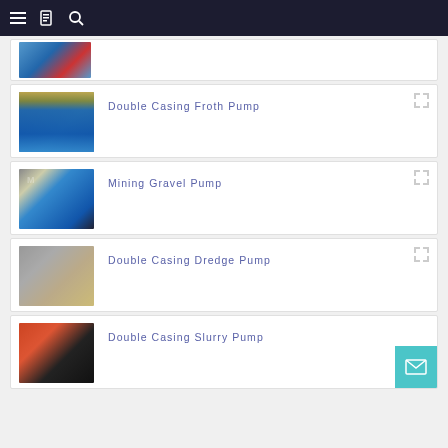Navigation bar with menu, document, and search icons
[Figure (photo): Partial view of a pump product card at top of page, blue industrial pump visible]
[Figure (photo): Double Casing Froth Pump - blue industrial pumps in factory setting]
Double Casing Froth Pump
[Figure (photo): Mining Gravel Pump - blue pump on black base in factory]
Mining Gravel Pump
[Figure (photo): Double Casing Dredge Pump - large gray industrial pump]
Double Casing Dredge Pump
[Figure (photo): Double Casing Slurry Pump - partial view, red and black pump components]
Double Casing Slurry Pump